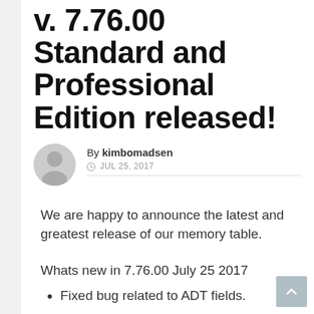ANT: kimbomadsen Table v. 7.76.00 Standard and Professional Edition released!
By kimbomadsen
© JUL 25, 2017
We are happy to announce the latest and greatest release of our memory table.
Whats new in 7.76.00 July 25 2017
Fixed bug related to ADT fields.